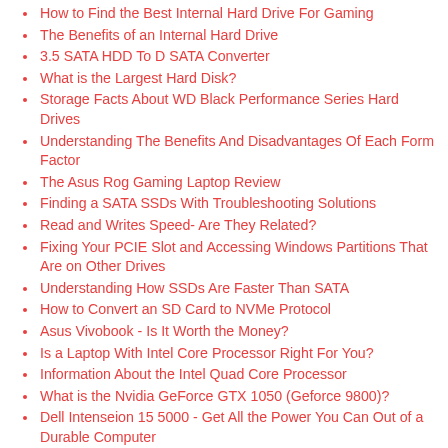How to Find the Best Internal Hard Drive For Gaming
The Benefits of an Internal Hard Drive
3.5 SATA HDD To D SATA Converter
What is the Largest Hard Disk?
Storage Facts About WD Black Performance Series Hard Drives
Understanding The Benefits And Disadvantages Of Each Form Factor
The Asus Rog Gaming Laptop Review
Finding a SATA SSDs With Troubleshooting Solutions
Read and Writes Speed- Are They Related?
Fixing Your PCIE Slot and Accessing Windows Partitions That Are on Other Drives
Understanding How SSDs Are Faster Than SATA
How to Convert an SD Card to NVMe Protocol
Asus Vivobook - Is It Worth the Money?
Is a Laptop With Intel Core Processor Right For You?
Information About the Intel Quad Core Processor
What is the Nvidia GeForce GTX 1050 (Geforce 9800)?
Dell Intenseion 15 5000 - Get All the Power You Can Out of a Durable Computer
How a Thin Light Laptop Can Make Your Life Easier